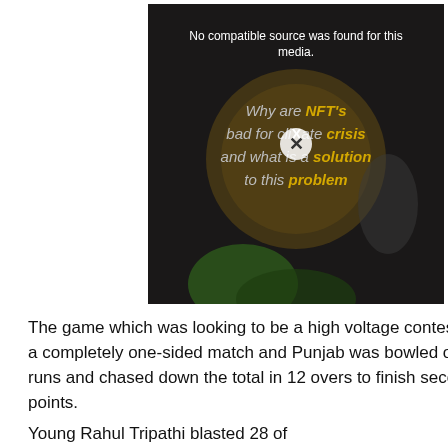[Figure (screenshot): Video player screenshot showing a dark background with text overlay reading 'No compatible source was found for this media.' and a video thumbnail with text 'Why are NFT's bad for climate crisis and what is a solution to this problem' with a close/X button overlay.]
The game which was looking to be a high voltage contest turned out to be a completely one-sided match and Punjab was bowled out for just 73 runs and chased down the total in 12 overs to finish second in the ei points.
Young Rahul Tripathi blasted 28 of